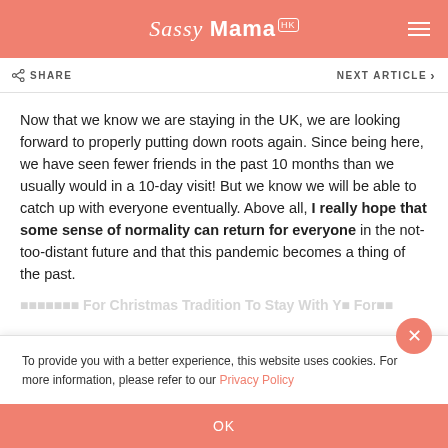Sassy Mama HK
SHARE
NEXT ARTICLE
Now that we know we are staying in the UK, we are looking forward to properly putting down roots again. Since being here, we have seen fewer friends in the past 10 months than we usually would in a 10-day visit! But we know we will be able to catch up with everyone eventually. Above all, I really hope that some sense of normality can return for everyone in the not-too-distant future and that this pandemic becomes a thing of the past.
To provide you with a better experience, this website uses cookies. For more information, please refer to our Privacy Policy
OK